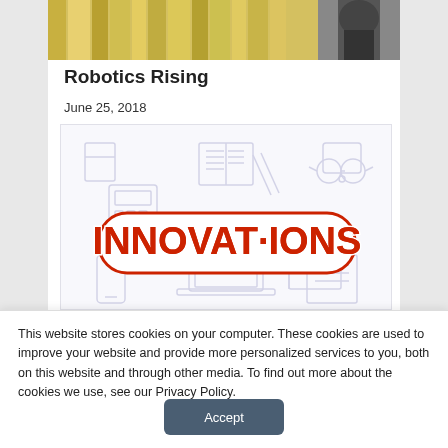[Figure (photo): Partial top of image showing books and robot figure with golden/yellow hues]
Robotics Rising
June 25, 2018
[Figure (illustration): Innovations illustration with doodle-style school/technology icons (books, calculator, laptop, notebook, pencils) surrounding large red bold text reading INNOVATIONS]
This website stores cookies on your computer. These cookies are used to improve your website and provide more personalized services to you, both on this website and through other media. To find out more about the cookies we use, see our Privacy Policy.
Accept